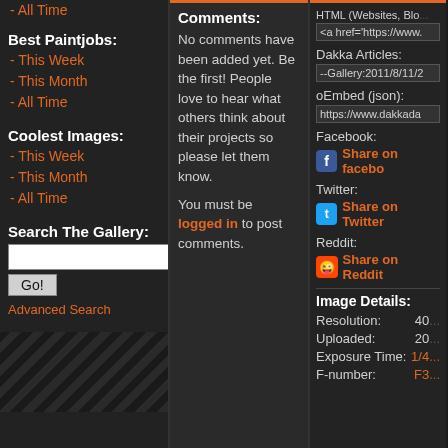- All Time
Best Paintjobs:
- This Week
- This Month
- All Time
Coolest Images:
- This Week
- This Month
- All Time
Search The Gallery:
Go!
Advanced Search
Comments:
No comments have been added yet. Be the first! People love to hear what others think about their projects so please let them know.
You must be logged in to post comments.
HTML (Websites, Blogs, etc.)
<a href='https://www...
Dakka Articles:
--Gallery:2011/8/11/2...
oEmbed (json):
https://www.dakkada...
Facebook:
Share on facebook
Twitter:
Share on Twitter
Reddit:
Share on Reddit
Image Details:
Resolution: 400...
Uploaded: 20...
Exposure Time: 1/4...
F-number: F3...